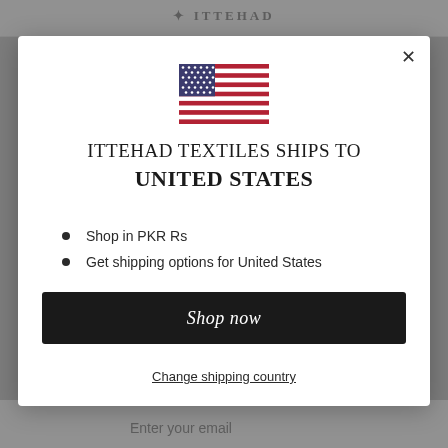[Figure (screenshot): Website background showing dimmed navigation bar with 'ITTEHAD' logo and bottom bar with 'Enter your email' text]
[Figure (illustration): United States flag SVG illustration]
ITTEHAD TEXTILES SHIPS TO UNITED STATES
Shop in PKR Rs
Get shipping options for United States
Shop now
Change shipping country